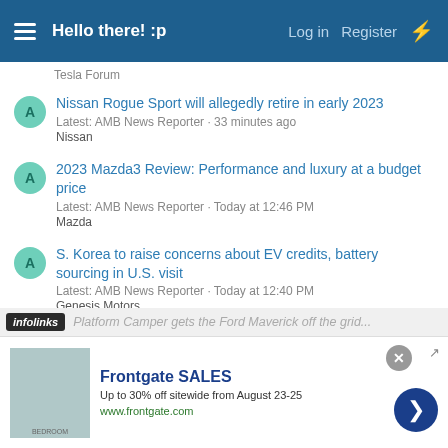Hello there! :p  Log in  Register
Tesla Forum
Nissan Rogue Sport will allegedly retire in early 2023
Latest: AMB News Reporter · 33 minutes ago
Nissan
2023 Mazda3 Review: Performance and luxury at a budget price
Latest: AMB News Reporter · Today at 12:46 PM
Mazda
S. Korea to raise concerns about EV credits, battery sourcing in U.S. visit
Latest: AMB News Reporter · Today at 12:40 PM
Genesis Motors
infolinks  Platform Camper gets the Ford Maverick off the grid...
[Figure (screenshot): Advertisement banner for Frontgate SALES: Up to 30% off sitewide from August 23-25. www.frontgate.com. Shows bedroom image on left, blue arrow button on right.]